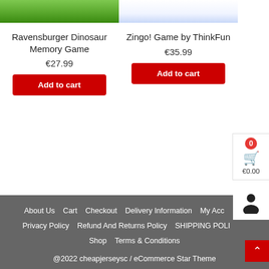[Figure (photo): Top portion of Ravensburger Dinosaur Memory Game product image, cropped]
[Figure (photo): Top portion of Zingo! Game by ThinkFun product image, cropped]
Ravensburger Dinosaur Memory Game
€27.99
Add to cart
Zingo! Game by ThinkFun
€35.99
Add to cart
0
€0.00
About Us  Cart  Checkout  Delivery Information  My Account  Privacy Policy  Refund And Returns Policy  SHIPPING POLICY  Shop  Terms & Conditions
@2022 cheapjerseysc / eCommerce Star Theme